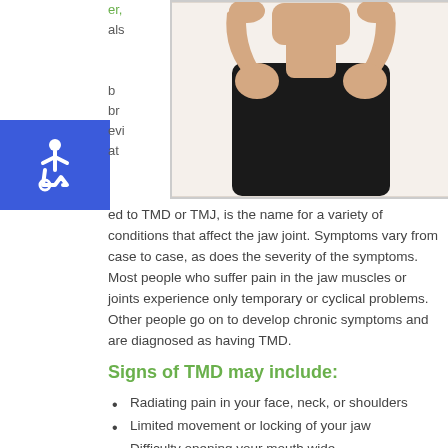[Figure (photo): Person in black top holding hands behind their head/neck, suggesting jaw or neck pain]
er, als b br evi at
ed to TMD or TMJ, is the name for a variety of conditions that affect the jaw joint. Symptoms vary from case to case, as does the severity of the symptoms. Most people who suffer pain in the jaw muscles or joints experience only temporary or cyclical problems. Other people go on to develop chronic symptoms and are diagnosed as having TMD.
Signs of TMD may include:
Radiating pain in your face, neck, or shoulders
Limited movement or locking of your jaw
Difficulty opening your mouth wide